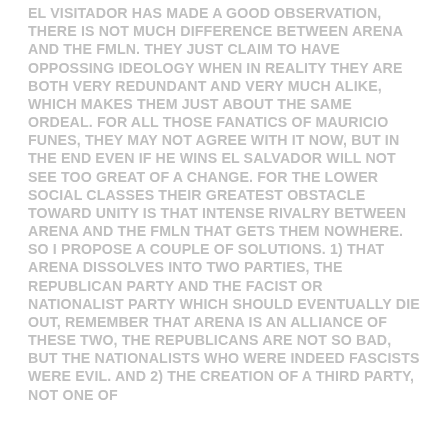EL VISITADOR HAS MADE A GOOD OBSERVATION, THERE IS NOT MUCH DIFFERENCE BETWEEN ARENA AND THE FMLN. THEY JUST CLAIM TO HAVE OPPOSSING IDEOLOGY WHEN IN REALITY THEY ARE BOTH VERY REDUNDANT AND VERY MUCH ALIKE, WHICH MAKES THEM JUST ABOUT THE SAME ORDEAL. FOR ALL THOSE FANATICS OF MAURICIO FUNES, THEY MAY NOT AGREE WITH IT NOW, BUT IN THE END EVEN IF HE WINS EL SALVADOR WILL NOT SEE TOO GREAT OF A CHANGE. FOR THE LOWER SOCIAL CLASSES THEIR GREATEST OBSTACLE TOWARD UNITY IS THAT INTENSE RIVALRY BETWEEN ARENA AND THE FMLN THAT GETS THEM NOWHERE. SO I PROPOSE A COUPLE OF SOLUTIONS. 1) THAT ARENA DISSOLVES INTO TWO PARTIES, THE REPUBLICAN PARTY AND THE FACIST OR NATIONALIST PARTY WHICH SHOULD EVENTUALLY DIE OUT, REMEMBER THAT ARENA IS AN ALLIANCE OF THESE TWO, THE REPUBLICANS ARE NOT SO BAD, BUT THE NATIONALISTS WHO WERE INDEED FASCISTS WERE EVIL. AND 2) THE CREATION OF A THIRD PARTY, NOT ONE OF